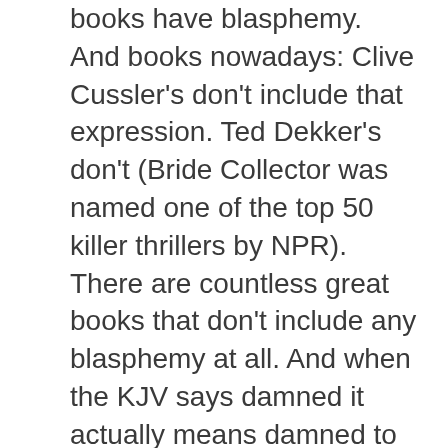books have blasphemy. And books nowadays: Clive Cussler's don't include that expression. Ted Dekker's don't (Bride Collector was named one of the top 50 killer thrillers by NPR). There are countless great books that don't include any blasphemy at all. And when the KJV says damned it actually means damned to hell. As in, if you take the Lord's name in vain your damned to hell. I'm not talking about you personally, that's just what the Bible says. Any sin, according to the Bible, will send a person to hell. Lying, stealing, adultery, murder, blasphemy. I wasn't trying to zero in on blasphemy. It's just one of many